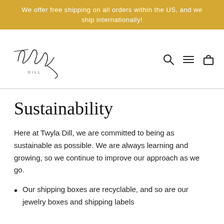We offer free shipping on all orders within the US, and we ship internationally!
[Figure (logo): Twyla Dill handwritten script logo with 'DILL' printed below in small caps]
Sustainability
Here at Twyla Dill, we are committed to being as sustainable as possible. We are always learning and growing, so we continue to improve our approach as we go.
Our shipping boxes are recyclable, and so are our jewelry boxes and shipping labels